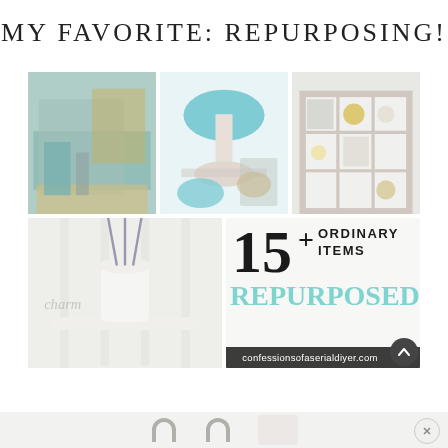MY FAVORITE: REPURPOSING!
[Figure (photo): Collage of 5 home decor repurposing photos with text overlay '15+ Ordinary Items Repurposed' and URL 'confessionsofaserialdiyer.com']
[Figure (photo): Bottom strip showing partial images with horseshoe/ring shapes]